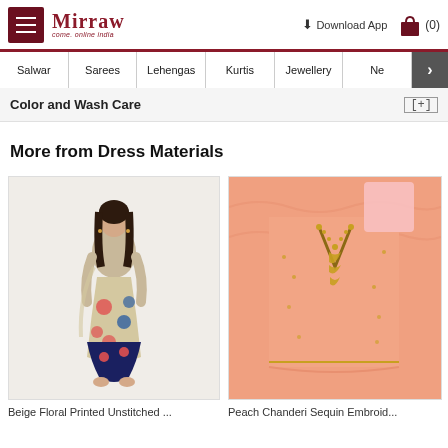Mirraw - Come, online India | Download App | Cart (0)
Salwar | Sarees | Lehengas | Kurtis | Jewellery | Ne >
Color and Wash Care [+]
More from Dress Materials
[Figure (photo): Beige floral printed unstitched salwar suit - woman model wearing beige top with floral printed bottom]
Beige Floral Printed Unstitched ...
[Figure (photo): Peach Chanderi sequin embroidered fabric - flat lay of peach fabric with gold embroidery detail]
Peach Chanderi Sequin Embroid...